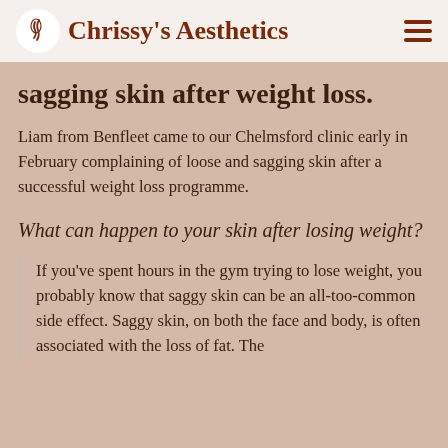Chrissy's Aesthetics
sagging skin after weight loss.
Liam from Benfleet came to our Chelmsford clinic early in February complaining of loose and sagging skin after a successful weight loss programme.
What can happen to your skin after losing weight?
If you've spent hours in the gym trying to lose weight, you probably know that saggy skin can be an all-too-common side effect. Saggy skin, on both the face and body, is often associated with the loss of fat. The